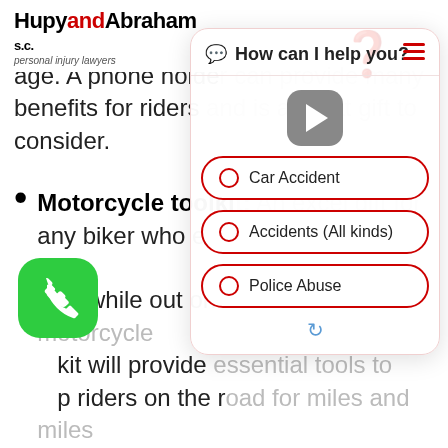HupyandAbraham s.c. personal injury lawyers
age. A phone holder can provide many benefits for riders and is a great gift to consider.
Motorcycle toolkit: An excellent gift for any biker who enjoys fixing up his or her bike while out on the road. A motorcycle kit will provide essential tools to keep riders on the road for miles and miles amount of miles, well, until you need to stop for gas, that is
[Figure (screenshot): Chat widget overlay showing 'How can I help you?' header with play button and three clickable options: Car Accident, Accidents (All kinds), Police Abuse. Also shows a green phone button on the left side.]